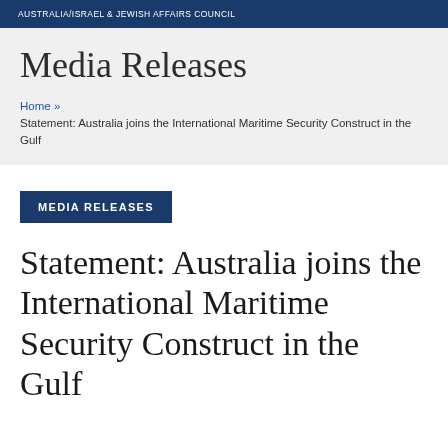AUSTRALIA/ISRAEL & JEWISH AFFAIRS COUNCIL
Media Releases
Home » Statement: Australia joins the International Maritime Security Construct in the Gulf
MEDIA RELEASES
Statement: Australia joins the International Maritime Security Construct in the Gulf